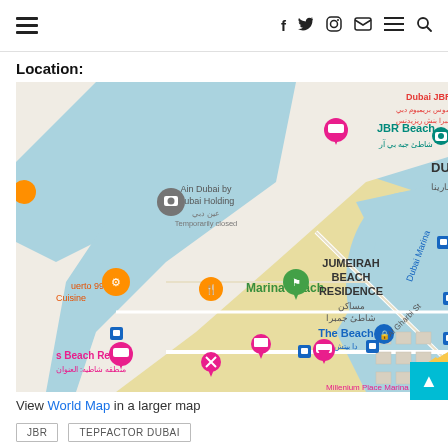Navigation bar with hamburger menu and social icons (f, twitter, instagram, mail, menu, search)
Location:
[Figure (map): Google Maps screenshot showing Jumeirah Beach Residence (JBR) area in Dubai, with labels for JBR Beach, Marina Beach, The Beach, Ain Dubai by Dubai Holding, Dubai Marina, Al Gharbi St, and various hotel/restaurant markers.]
View World Map in a larger map
JBR
TEPFACTOR DUBAI